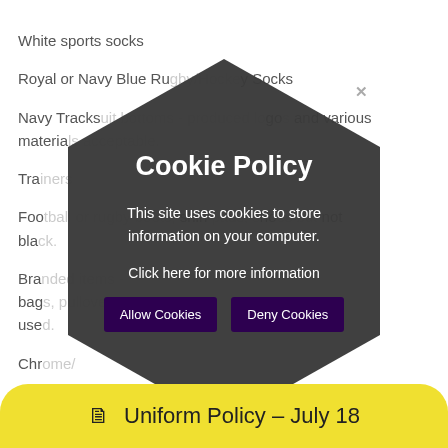White sports socks
Royal or Navy Blue Rugby/Hockey Socks
Navy Tracksuit bottoms - produced logo and various materials acceptable.
Trainers
Football or rugby boots, shin pads, not black
Branded items - bags, pullover, various, use Chrome/Breeze/You and to make about Chr .co.uk.
[Figure (infographic): Dark hexagon-shaped cookie policy popup overlay with title 'Cookie Policy', body text 'This site uses cookies to store information on your computer.', link 'Click here for more information', two buttons 'Allow Cookies' and 'Deny Cookies', and a close X button.]
Uniform Policy - July 18